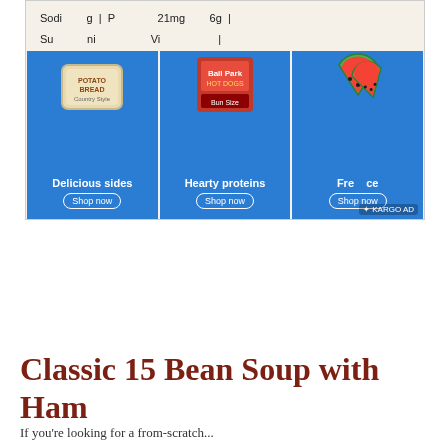[Figure (screenshot): Advertisement banner showing three product tiles on a blue background: Delicious sides (potato bread), Hearty proteins (bologna), and Fresh produce (watermelon slices). Partial nutritional text visible at top. KARGO AD badge at bottom right.]
Classic 15 Bean Soup with Ham
If you're looking for a from-scratch...